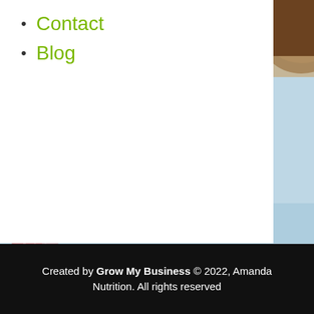[Figure (photo): Food photography background showing strawberries and what appears to be a dessert or smoothie bowl with powder/toppings on a blue/light surface, partially visible on the right side of the page]
Contact
Blog
Created by Grow My Business © 2022, Amanda Nutrition. All rights reserved